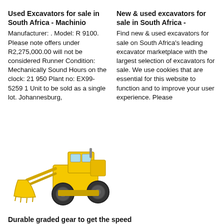Used Excavators for sale in South Africa - Machinio
Manufacturer: . Model: R 9100. Please note offers under R2,275,000.00 will not be considered Runner Condition: Mechanically Sound Hours on the clock: 21 950 Plant no: EX99-5259 1 Unit to be sold as a single lot. Johannesburg,
New & used excavators for sale in South Africa -
Find new & used excavators for sale on South Africa's leading excavator marketplace with the largest selection of excavators for sale. We use cookies that are essential for this website to function and to improve your user experience. Please
[Figure (photo): Yellow wheel loader construction machine (front loader) on white background]
Durable graded gear to get the speed of your excavator –
Designed in South Africa, the modular system allows you to